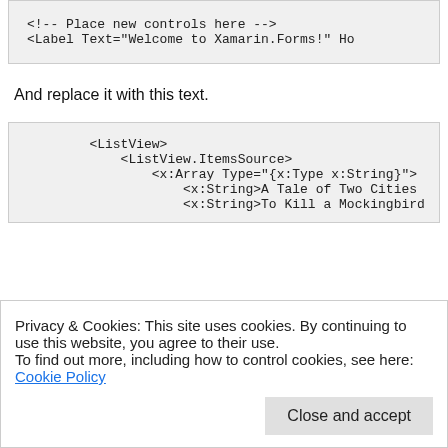[Figure (screenshot): Code snippet showing XML: <!-- Place new controls here --> and <Label Text="Welcome to Xamarin.Forms!" Ho]
And replace it with this text.
[Figure (screenshot): Code snippet showing XML: <ListView>, <ListView.ItemsSource>, <x:Array Type="{x:Type x:String}">, <x:String>A Tale of Two Cities, <x:String>To Kill a Mockingbird]
Privacy & Cookies: This site uses cookies. By continuing to use this website, you agree to their use.
To find out more, including how to control cookies, see here: Cookie Policy